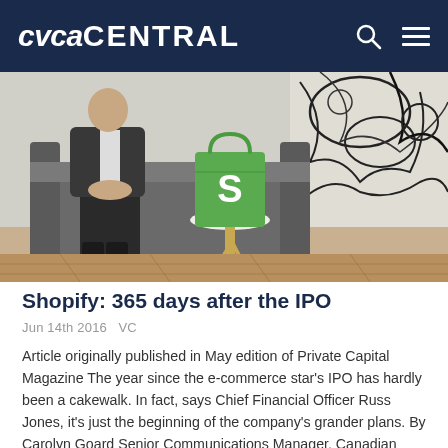CVCA CENTRAL
[Figure (photo): A person in a business suit seated on a grey sofa next to a small round table with a green Shopify shopping bag on it, in front of a black and white mural wall.]
Shopify: 365 days after the IPO
Jun 14th 2016   VC
Article originally published in May edition of Private Capital Magazine The year since the e-commerce star's IPO has hardly been a cakewalk. In fact, says Chief Financial Officer Russ Jones, it's just the beginning of the company's grander plans. By Carolyn Goard Senior Communications Manager, Canadian